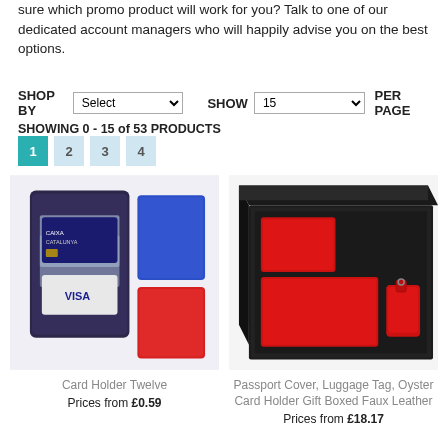sure which promo product will work for you? Talk to one of our dedicated account managers who will happily advise you on the best options.
SHOP BY Select  SHOW 15 PER PAGE
SHOWING 0 - 15 of 53 PRODUCTS
1 2 3 4
[Figure (photo): Card Holder Twelve - dark purple/navy card holder with credit cards and two smaller notebooks in blue and red]
Card Holder Twelve
Prices from £0.59
[Figure (photo): Passport Cover, Luggage Tag, Oyster Card Holder Gift Boxed Faux Leather - black box with red leather items including passport cover, oyster card holder and luggage tag]
Passport Cover, Luggage Tag, Oyster Card Holder Gift Boxed Faux Leather
Prices from £18.17